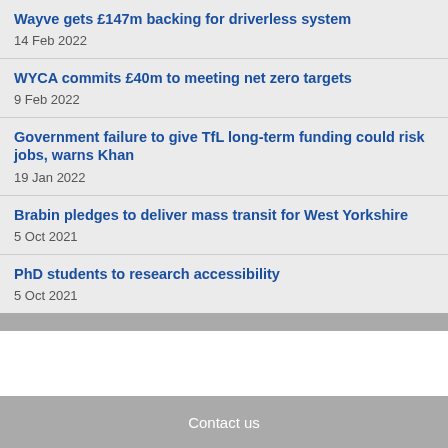Wayve gets £147m backing for driverless system
14 Feb 2022
WYCA commits £40m to meeting net zero targets
9 Feb 2022
Government failure to give TfL long-term funding could risk jobs, warns Khan
19 Jan 2022
Brabin pledges to deliver mass transit for West Yorkshire
5 Oct 2021
PhD students to research accessibility
5 Oct 2021
Contact us